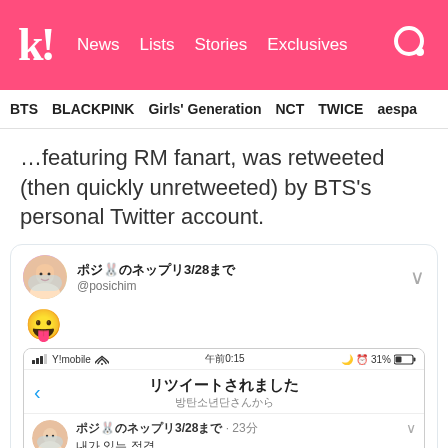K! News  Lists  Stories  Exclusives
BTS  BLACKPINK  Girls' Generation  NCT  TWICE  aespa
…featuring RM fanart, was retweeted (then quickly unretweeted) by BTS's personal Twitter account.
[Figure (screenshot): Embedded tweet from @posichim (ポジ🐰のネップリ3/28まで) showing a 😛 emoji, with a nested phone screenshot showing a Twitter retweet notification 'リツイートされました 방탄소년단さんから' and a tweet from ポジ🐰のネップリ3/28まで · 23分 with text '내가 있는 정경' and hashtags '#RM #Namjoon #남준 #btsfanart' and 'Translated by']